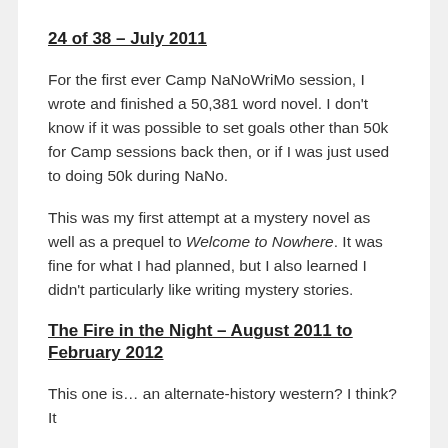24 of 38 – July 2011
For the first ever Camp NaNoWriMo session, I wrote and finished a 50,381 word novel. I don't know if it was possible to set goals other than 50k for Camp sessions back then, or if I was just used to doing 50k during NaNo.
This was my first attempt at a mystery novel as well as a prequel to Welcome to Nowhere. It was fine for what I had planned, but I also learned I didn't particularly like writing mystery stories.
The Fire in the Night – August 2011 to February 2012
This one is… an alternate-history western? I think? It